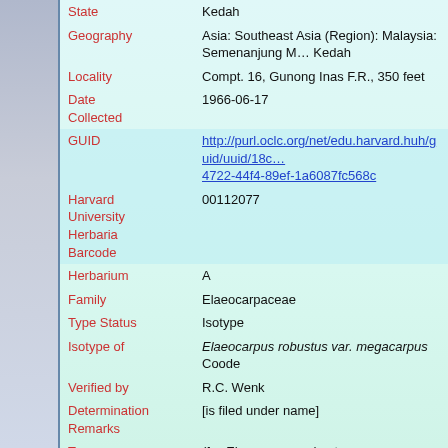| Field | Value |
| --- | --- |
| State | Kedah |
| Geography | Asia: Southeast Asia (Region): Malaysia: Semenanjung M… Kedah |
| Locality | Compt. 16, Gunong Inas F.R., 350 feet |
| Date Collected | 1966-06-17 |
| GUID | http://purl.oclc.org/net/edu.harvard.huh/guid/uuid/18c… 4722-44f4-89ef-1a6087fc568c |
| Harvard University Herbaria Barcode | 00112077 |
| Herbarium | A |
| Family | Elaeocarpaceae |
| Type Status | Isotype |
| Isotype of | Elaeocarpus robustus var. megacarpus Coode |
| Verified by | R.C. Wenk |
| Determination Remarks | [is filed under name] |
| Taxon Reference | (for Elaeocarpus robustus var. megacarpus Coode) … Bull. 1996. 51 (1): 91. |
| Sex | not determined |